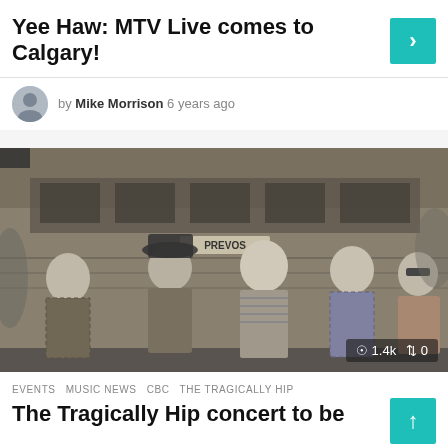Yee Haw: MTV Live comes to Calgary!
by Mike Morrison 6 years ago
[Figure (photo): Black and white / sepia photo of five band members (The Tragically Hip) standing in front of a Prevost tour bus]
1.4k  0
EVENTS  MUSIC NEWS  CBC  THE TRAGICALLY HIP
The Tragically Hip concert to be